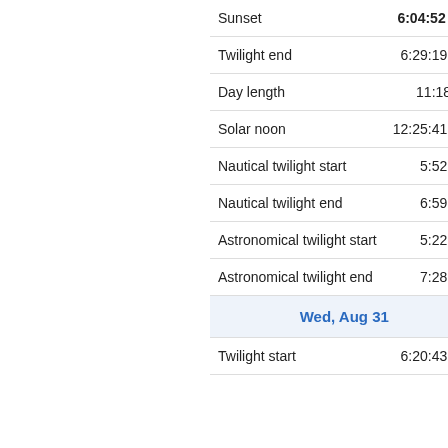| Event | Time |
| --- | --- |
| Sunset | 6:04:52 pm |
| Twilight end | 6:29:19 pm |
| Day length | 11:18:22 |
| Solar noon | 12:25:41 pm |
| Nautical twilight start | 5:52 am |
| Nautical twilight end | 6:59 pm |
| Astronomical twilight start | 5:22 am |
| Astronomical twilight end | 7:28 pm |
| Wed, Aug 31 |  |
| Twilight start | 6:20:43 am |